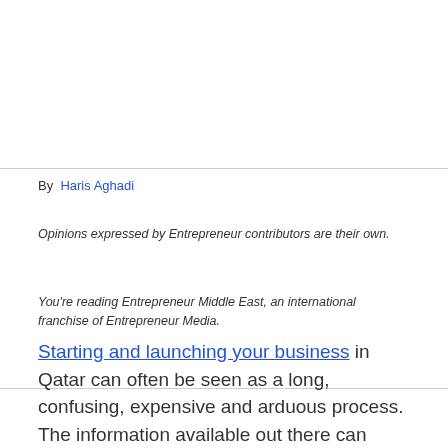By  Haris Aghadi
Opinions expressed by Entrepreneur contributors are their own.
You're reading Entrepreneur Middle East, an international franchise of Entrepreneur Media.
Starting and launching your business in Qatar can often be seen as a long, confusing, expensive and arduous process. The information available out there can